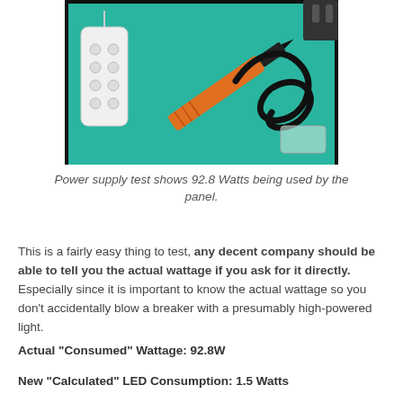[Figure (photo): A teal/green surface with a white remote control on the left and an orange soldering iron or power probe with a black coiled cord on the right, used to test power supply wattage of an LED panel.]
Power supply test shows 92.8 Watts being used by the panel.
This is a fairly easy thing to test, any decent company should be able to tell you the actual wattage if you ask for it directly. Especially since it is important to know the actual wattage so you don't accidentally blow a breaker with a presumably high-powered light.
Actual "Consumed" Wattage: 92.8W
New "Calculated" LED Consumption: 1.5 Watts